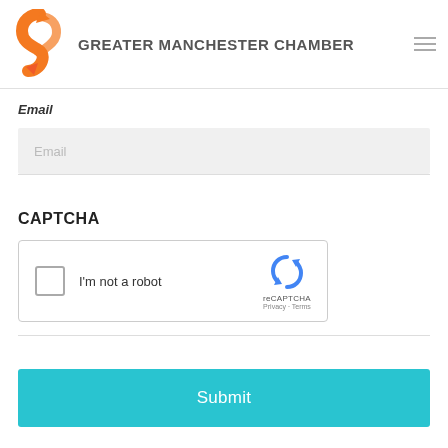[Figure (logo): Greater Manchester Chamber logo with orange arrow/swirl icon and text 'GREATER MANCHESTER CHAMBER' plus hamburger menu icon]
Email
[Figure (screenshot): Email input field placeholder showing 'Email']
CAPTCHA
[Figure (screenshot): reCAPTCHA widget with checkbox and 'I'm not a robot' text, reCAPTCHA logo, Privacy and Terms links]
[Figure (screenshot): Submit button in teal/cyan color]